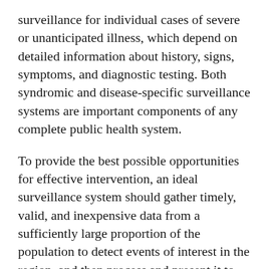surveillance for individual cases of severe or unanticipated illness, which depend on detailed information about history, signs, symptoms, and diagnostic testing. Both syndromic and disease-specific surveillance systems are important components of any complete public health system.
To provide the best possible opportunities for effective intervention, an ideal surveillance system should gather timely, valid, and inexpensive data from a sufficiently large proportion of the population to detect events of interest in the region, and then process and present it to public health personnel in a form that enables efficient decision making. Important elements of such a syndromic surveillance system exist in the automated data generated by health plans and other parts of the health-care delivery system as part of routine operations. The